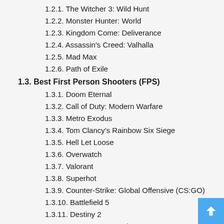1.2.1. The Witcher 3: Wild Hunt
1.2.2. Monster Hunter: World
1.2.3. Kingdom Come: Deliverance
1.2.4. Assassin's Creed: Valhalla
1.2.5. Mad Max
1.2.6. Path of Exile
1.3. Best First Person Shooters (FPS)
1.3.1. Doom Eternal
1.3.2. Call of Duty: Modern Warfare
1.3.3. Metro Exodus
1.3.4. Tom Clancy's Rainbow Six Siege
1.3.5. Hell Let Loose
1.3.6. Overwatch
1.3.7. Valorant
1.3.8. Superhot
1.3.9. Counter-Strike: Global Offensive (CS:GO)
1.3.10. Battlefield 5
1.3.11. Destiny 2
1.3.12. Insurgency: Sandstorm